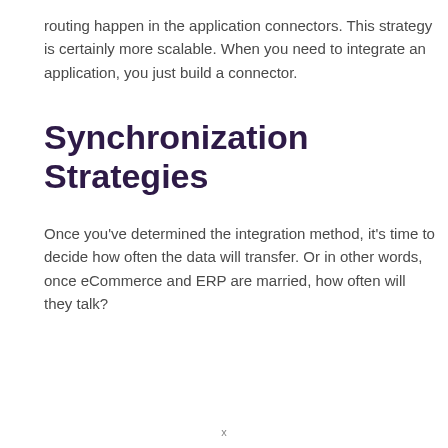routing happen in the application connectors. This strategy is certainly more scalable. When you need to integrate an application, you just build a connector.
Synchronization Strategies
Once you've determined the integration method, it's time to decide how often the data will transfer. Or in other words, once eCommerce and ERP are married, how often will they talk?
x